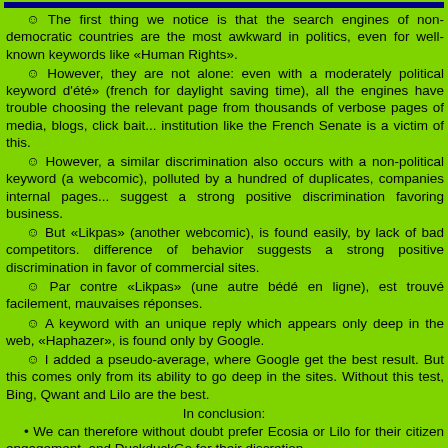[table header row at top]
☺ The first thing we notice is that the search engines of non-democratic countries are the most awkward in politics, even for well-known keywords like «Human Rights».
☺ However, they are not alone: even with a moderately political keyword like «heure d'été» (french for daylight saving time), all the engines have trouble distinguishing the relevant page from thousands of verbose pages of media, blogs, click bait... Even an institution like the French Senate is a victim of this.
☺ However, a similar discrimination also occurs with a non-political keyword like «XKCD» (a webcomic), polluted by a hundred of duplicates, companies internal pages... These suggest a strong positive discrimination favoring business.
☺ But «Likpas» (another webcomic), is found easily, by lack of bad competitors. This difference of behavior suggests a strong positive discrimination in favor of commercial sites.
☺ Par contre «Likpas» (une autre bédé en ligne), est trouvé facilement, par manque de mauvaises réponses.
☺ A keyword with an unique reply which appears only deep in the web, a webcomic named «Haphazer», is found only by Google.
☺ I added a pseudo-average, where Google get the best result. But this good performance comes only from its ability to go deep in the sites. Without this test, Bing, Qwant and Lilo are the best.
In conclusion:
• We can therefore without doubt prefer Ecosia or Lilo for their civic engagement, and DuckduckGo for their discretion
• However Google is still the best for difficult cases. Seems they still are the only ones where we can search in a single site with «site:URL».
• All engines must rework spam filtering (ad pages without content). I suggest to use an ad blocker for crawlers, which would only find the banner asking to unblock the ads. These pages would not be indexed or weakly indexed.
• All engines also need to rework relevance: Primary sources first, official sites vs home pages versus internal pages, non-profit pages versus business pages...
• They should not systematically propose «corrections», which drown the relevant results.